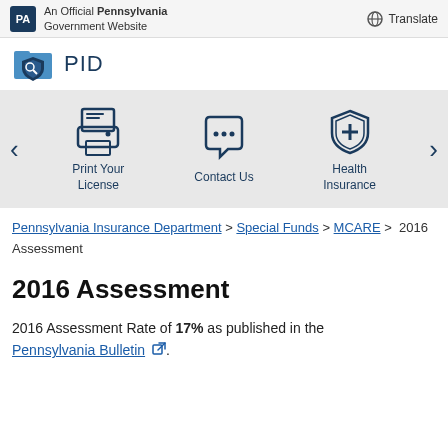An Official Pennsylvania Government Website | Translate
[Figure (logo): PID Pennsylvania Insurance Department logo with blue folder and shield icon]
[Figure (infographic): Icon carousel with Print Your License (printer icon), Contact Us (speech bubble icon), and Health Insurance (shield icon), with left and right navigation arrows]
Pennsylvania Insurance Department > Special Funds > MCARE > 2016 Assessment
2016 Assessment
2016 Assessment Rate of 17% as published in the Pennsylvania Bulletin.